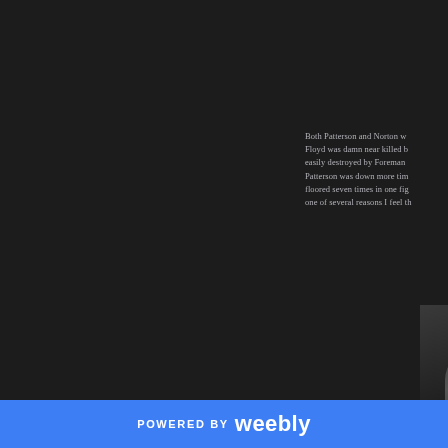Both Patterson and Norton w... Floyd was damn near killed b... easily destroyed by Foreman... Patterson was down more tim... floored seven times in one fig... one of several reasons I feel th...
[Figure (photo): Partial view of a person in dark clothing against a dark background, visible in the bottom-right area of the page]
POWERED BY weebly